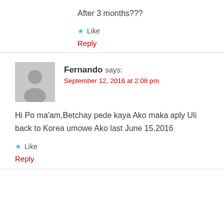After 3 months???
★ Like
Reply
Fernando says:
September 12, 2016 at 2:08 pm
Hi Po ma'am,Betchay pede kaya Ako maka aply Uli back to Korea umowe Ako last June 15,2016
★ Like
Reply